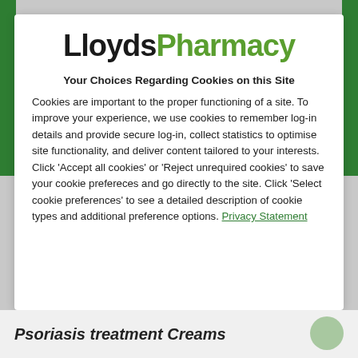[Figure (logo): LloydsPharmacy logo with 'Lloyds' in dark/black bold and 'Pharmacy' in green bold]
Your Choices Regarding Cookies on this Site
Cookies are important to the proper functioning of a site. To improve your experience, we use cookies to remember log-in details and provide secure log-in, collect statistics to optimise site functionality, and deliver content tailored to your interests. Click 'Accept all cookies' or 'Reject unrequired cookies' to save your cookie prefereces and go directly to the site. Click 'Select cookie preferences' to see a detailed description of cookie types and additional preference options. Privacy Statement
Psoriasis treatment Creams